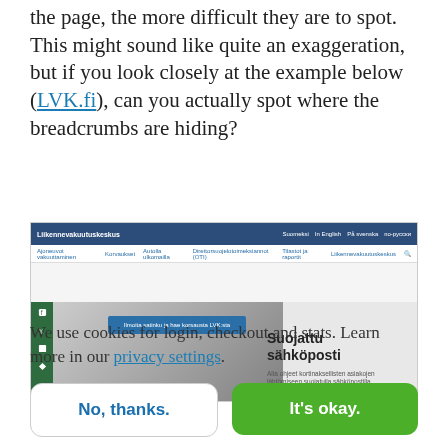the page, the more difficult they are to spot. This might sound like quite an exaggeration, but if you look closely at the example below (LVK.fi), can you actually spot where the breadcrumbs are hiding?
[Figure (screenshot): Screenshot of LVK.fi website showing navigation bar, sub-navigation, social media sidebar icons (Facebook, Twitter, LinkedIn, Share), hero image with a blue button reading 'Ilmoita satinku ja hae korsausta LVK:sta', and hero text 'Suojattu sähköposti' with subtitle text below.]
We use cookies for login, checkout and stats. Learn more in our privacy settings.